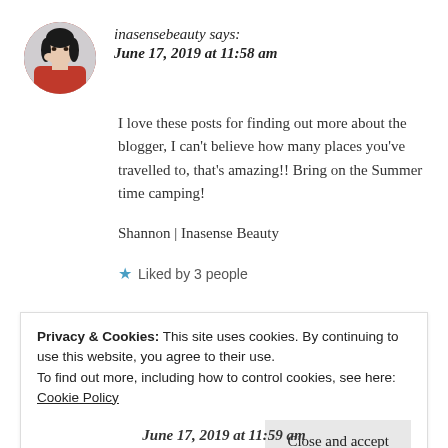[Figure (photo): Circular avatar photo of a woman with dark hair wearing red, shown in a blog comment header]
inasensebeauty says:
June 17, 2019 at 11:58 am
I love these posts for finding out more about the blogger, I can’t believe how many places you’ve travelled to, that’s amazing!! Bring on the Summer time camping!
Shannon | Inasense Beauty
★ Liked by 3 people
Privacy & Cookies: This site uses cookies. By continuing to use this website, you agree to their use.
To find out more, including how to control cookies, see here: Cookie Policy
Close and accept
June 17, 2019 at 11:59 am